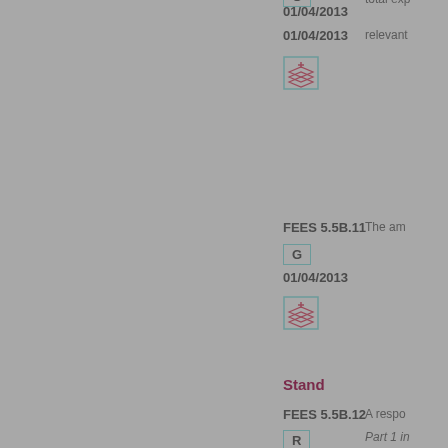total exp
01/04/2013
[Figure (other): Layers/stack icon in teal-bordered box]
relevant
FEES 5.5B.11
The am
G
01/04/2013
[Figure (other): Layers/stack icon in teal-bordered box]
Stand
FEES 5.5B.12
A respo
R
Part 1 in
01/04/2013
Financia
[Figure (other): Layers/stack icon in teal-bordered box]
group a
FEES 5.5B.13
The exc
G